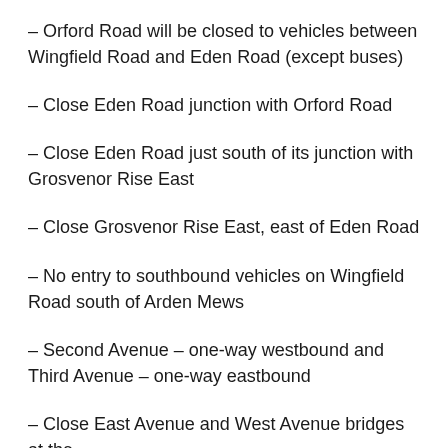– Orford Road will be closed to vehicles between Wingfield Road and Eden Road (except buses)
– Close Eden Road junction with Orford Road
– Close Eden Road just south of its junction with Grosvenor Rise East
– Close Grosvenor Rise East, east of Eden Road
– No entry to southbound vehicles on Wingfield Road south of Arden Mews
– Second Avenue – one-way westbound and Third Avenue – one-way eastbound
– Close East Avenue and West Avenue bridges at the